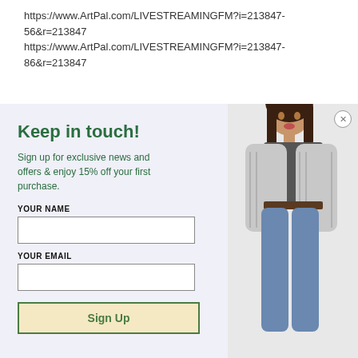https://www.ArtPal.com/LIVESTREAMINGFM?i=213847-56&r=213847
https://www.ArtPal.com/LIVESTREAMINGFM?i=213847-86&r=213847
Keep in touch!
Sign up for exclusive news and offers & enjoy 15% off your first purchase.
YOUR NAME
YOUR EMAIL
Sign Up
[Figure (photo): Woman wearing a light grey knit cardigan over a dark graphic tee with jeans, standing against a light background]